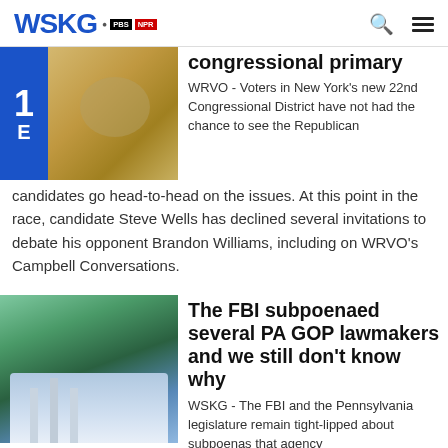WSKG PBS NPR
congressional primary
WRVO - Voters in New York's new 22nd Congressional District have not had the chance to see the Republican candidates go head-to-head on the issues. At this point in the race, candidate Steve Wells has declined several invitations to debate his opponent Brandon Williams, including on WRVO's Campbell Conversations.
The FBI subpoenaed several PA GOP lawmakers and we still don't know why
WSKG - The FBI and the Pennsylvania legislature remain tight-lipped about subpoenas that agency handed out to Republican lawmakers and